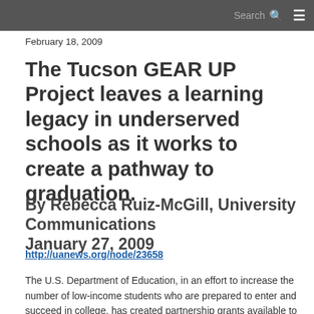Search ☰
February 18, 2009
The Tucson GEAR UP Project leaves a learning legacy in underserved schools as it works to create a pathway to graduation.
By Rebecca Ruiz-McGill, University Communications
January 27, 2009
http://uanews.org/node/23658
The U.S. Department of Education, in an effort to increase the number of low-income students who are prepared to enter and succeed in college, has created partnership grants available to each state for the development of